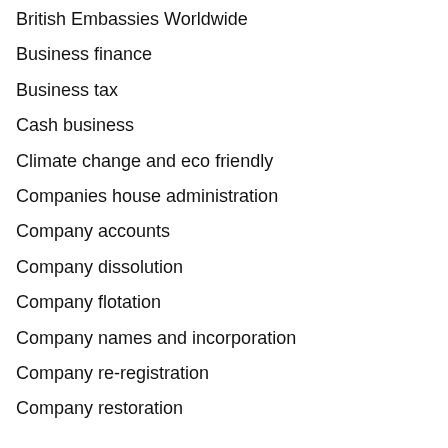British Embassies Worldwide
Business finance
Business tax
Cash business
Climate change and eco friendly
Companies house administration
Company accounts
Company dissolution
Company flotation
Company names and incorporation
Company re-registration
Company restoration